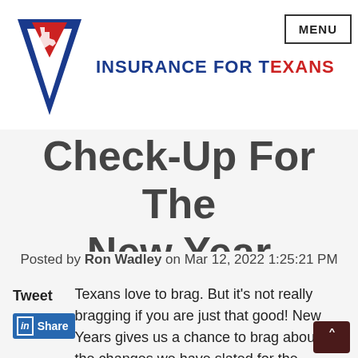INSURANCE FOR TEXANS
Check-Up For The New Year
Posted by Ron Wadley on Mar 12, 2022 1:25:21 PM
Texans love to brag. But it's not really bragging if you are just that good! New Years gives us a chance to brag about all the changes we have slated for the upcoming months ahead. We are going to lose weight. We are going to exercise. We are going to spend more time with our family. The pursuit of redoing personal finances is always up there in this list as well. One aspect that c...